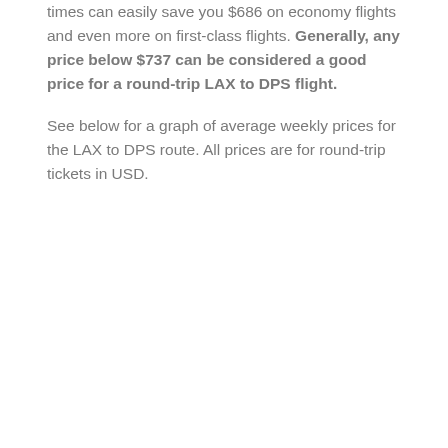times can easily save you $686 on economy flights and even more on first-class flights. Generally, any price below $737 can be considered a good price for a round-trip LAX to DPS flight.
See below for a graph of average weekly prices for the LAX to DPS route. All prices are for round-trip tickets in USD.